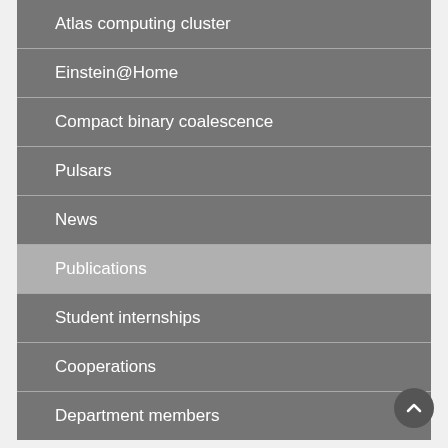Atlas computing cluster
Einstein@Home
Compact binary coalescence
Pulsars
News
Publications
Student internships
Cooperations
Department members